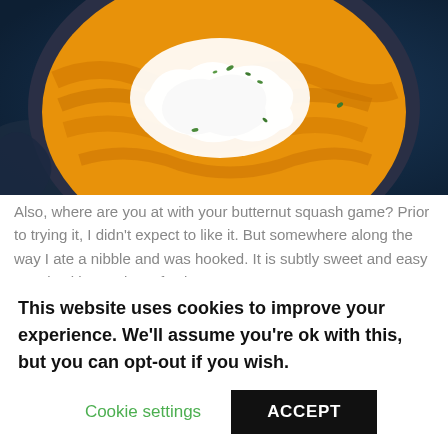[Figure (photo): Close-up overhead photo of a dark bowl filled with orange butternut squash soup, topped with a swirl of white cream and small green herb garnishes, on a dark blue background.]
Also, where are you at with your butternut squash game? Prior to trying it, I didn't expect to like it. But somewhere along the way I ate a nibble and was hooked. It is subtly sweet and easy to pair with a variety of spices. For
This website uses cookies to improve your experience. We'll assume you're ok with this, but you can opt-out if you wish.
Cookie settings
ACCEPT